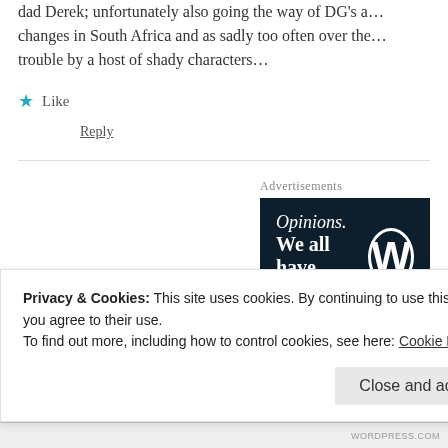dad Derek; unfortunately also going the way of DG's a… changes in South Africa and as sadly too often over the… trouble by a host of shady characters…
★ Like
Reply
Advertisements
[Figure (screenshot): Dark navy advertisement banner reading 'Opinions. We all have them!' with a WordPress logo circle on the right.]
K M MUNDY says: October 2, 2019 at 5:37 am
Privacy & Cookies: This site uses cookies. By continuing to use this website, you agree to their use.
To find out more, including how to control cookies, see here: Cookie Policy
Close and accept